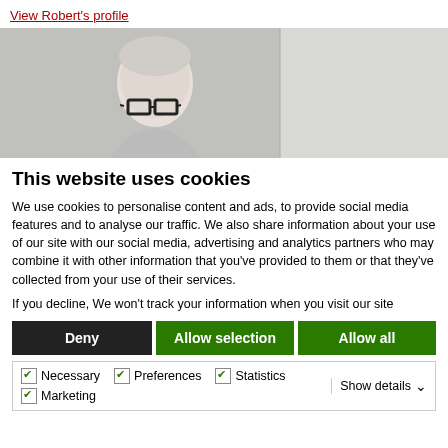View Robert's profile
[Figure (photo): Elderly man with white hair and glasses photographed indoors against a light background]
This website uses cookies
We use cookies to personalise content and ads, to provide social media features and to analyse our traffic. We also share information about your use of our site with our social media, advertising and analytics partners who may combine it with other information that you've provided to them or that they've collected from your use of their services.
If you decline, We won't track your information when you visit our site
Deny | Allow selection | Allow all
Necessary  Preferences  Statistics  Marketing  Show details